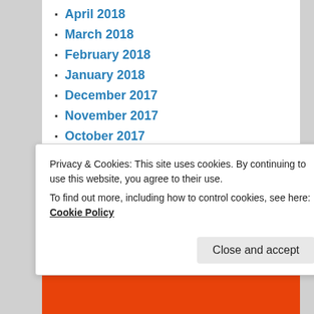April 2018
March 2018
February 2018
January 2018
December 2017
November 2017
October 2017
September 2017
August 2017
July 2017
June 2017
May 2017
April 2017
March 2017
Privacy & Cookies: This site uses cookies. By continuing to use this website, you agree to their use.
To find out more, including how to control cookies, see here: Cookie Policy
Close and accept